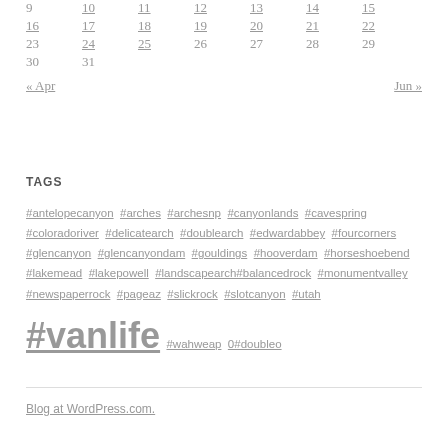| 9 | 10 | 11 | 12 | 13 | 14 | 15 |
| 16 | 17 | 18 | 19 | 20 | 21 | 22 |
| 23 | 24 | 25 | 26 | 27 | 28 | 29 |
| 30 | 31 |  |  |  |  |  |
« Apr    Jun »
TAGS
#antelopecanyon #arches #archesnp #canyonlands #cavespring #coloradoriver #delicatearch #doublearch #edwardabbey #fourcorners #glencanyon #glencanyondam #gouldings #hooverdam #horseshoebend #lakemead #lakepowell #landscapearch#balancedrock #monumentvalley #newspaperrock #pageaz #slickrock #slotcanyon #utah #vanlife #wahweap 0#doubleo
Blog at WordPress.com.